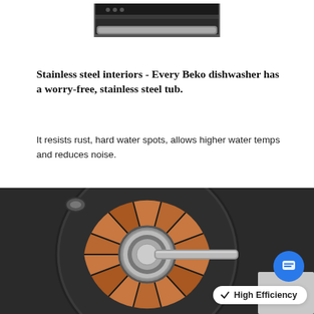[Figure (photo): Top portion of a dishwasher showing the front panel/control area in stainless steel finish]
Stainless steel interiors - Every Beko dishwasher has a worry-free, stainless steel tub.
It resists rust, hard water spots, allows higher water temps and reduces noise.
[Figure (photo): Close-up of a motor/engine component with copper windings and metallic shaft, with a 'High Efficiency' badge overlay and a blue chat button]